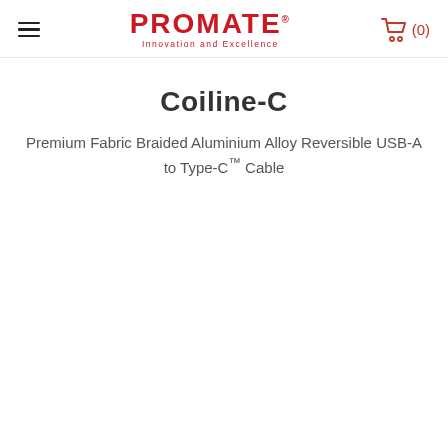PROMATE® Innovation and Excellence | (0) cart
Coiline-C
Premium Fabric Braided Aluminium Alloy Reversible USB-A to Type-C™ Cable